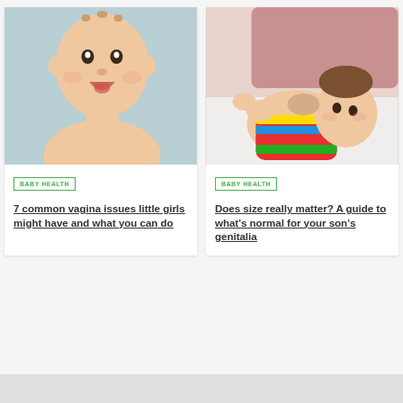[Figure (photo): Smiling baby against light blue background]
BABY HEALTH
7 common vagina issues little girls might have and what you can do
[Figure (photo): Baby in colorful striped outfit lying on back held up]
BABY HEALTH
Does size really matter? A guide to what's normal for your son's genitalia